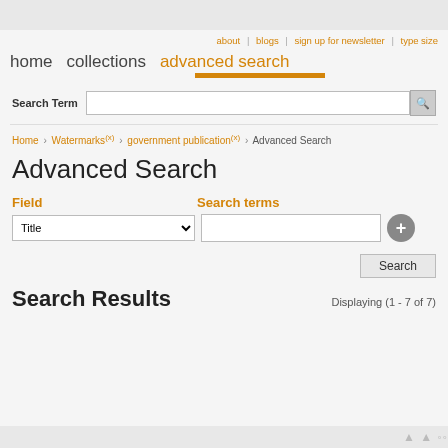about | blogs | sign up for newsletter | type size
home   collections   advanced search
Search Term [input field] [search button]
Home › Watermarks (x) › government publication (x) › Advanced Search
Advanced Search
Field   Search terms
Title [dropdown]   [text input] [+ button]
Search [button]
Search Results   Displaying (1 - 7 of 7)